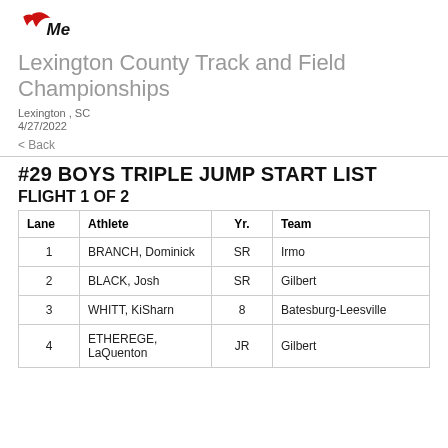[Figure (logo): MeetPro logo with red swoosh/arrow marks and bold italic MeetPro text]
Lexington County Track and Field Championships
Lexington , SC
4/27/2022
< Back
#29 BOYS TRIPLE JUMP START LIST
FLIGHT 1 OF 2
| Lane | Athlete | Yr. | Team |
| --- | --- | --- | --- |
| 1 | BRANCH, Dominick | SR | Irmo |
| 2 | BLACK, Josh | SR | Gilbert |
| 3 | WHITT, KiSharn | 8 | Batesburg-Leesville |
| 4 | ETHEREGE, LaQuenton | JR | Gilbert |